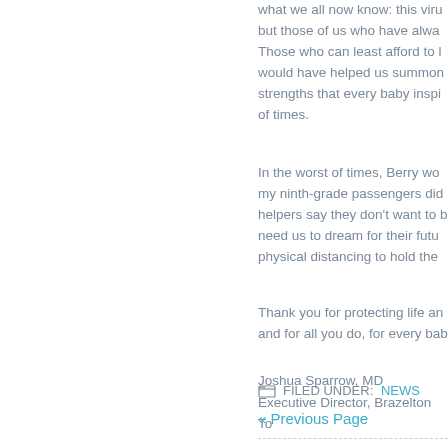what we all now know: this viru... but those of us who have alway... Those who can least afford to l... would have helped us summon... strengths that every baby inspi... of times.
In the worst of times, Berry wou... my ninth-grade passengers did... helpers say they don't want to b... need us to dream for their futu... physical distancing to hold them...
Thank you for protecting life an... and for all you do, for every bab...
Joshua Sparrow, MD
Executive Director, Brazelton To...
FILED UNDER: NEWS
« Previous Page